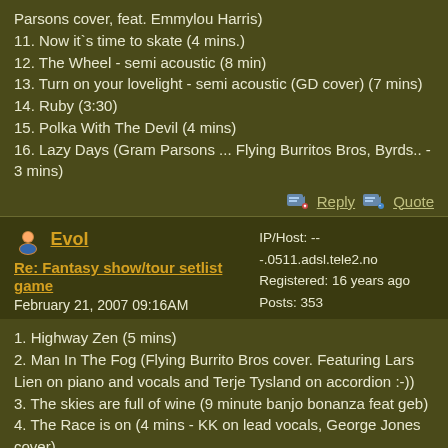Parsons cover, feat. Emmylou Harris)
11. Now it`s time to skate (4 mins.)
12. The Wheel - semi acoustic (8 min)
13. Turn on your lovelight - semi acoustic (GD cover) (7 mins)
14. Ruby (3:30)
15. Polka With The Devil (4 mins)
16. Lazy Days (Gram Parsons ... Flying Burritos Bros, Byrds.. - 3 mins)
Reply  Quote
Evol
Re: Fantasy show/tour setlist game
February 21, 2007 09:16AM
IP/Host: ---.0511.adsl.tele2.no
Registered: 16 years ago
Posts: 353
1. Highway Zen (5 mins)
2. Man In The Fog (Flying Burrito Bros cover. Featuring Lars Lien on piano and vocals and Terje Tysland on accordion :-))
3. The skies are full of wine (9 minute banjo bonanza feat geb)
4. The Race is on (4 mins - KK on lead vocals, George Jones cover)